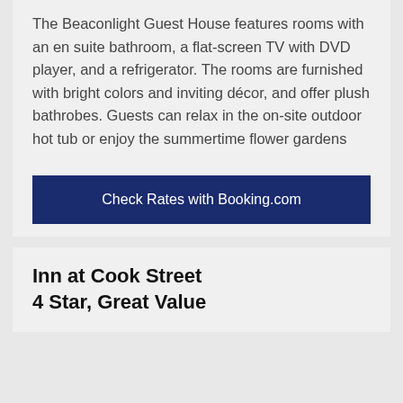The Beaconlight Guest House features rooms with an en suite bathroom, a flat-screen TV with DVD player, and a refrigerator. The rooms are furnished with bright colors and inviting décor, and offer plush bathrobes. Guests can relax in the on-site outdoor hot tub or enjoy the summertime flower gardens
Check Rates with Booking.com
Inn at Cook Street
4 Star, Great Value